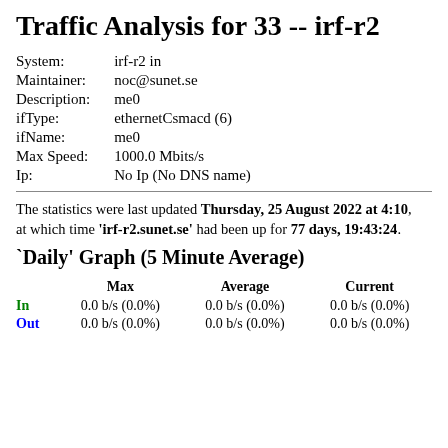Traffic Analysis for 33 -- irf-r2
| Field | Value |
| --- | --- |
| System: | irf-r2 in |
| Maintainer: | noc@sunet.se |
| Description: | me0 |
| ifType: | ethernetCsmacd (6) |
| ifName: | me0 |
| Max Speed: | 1000.0 Mbits/s |
| Ip: | No Ip (No DNS name) |
The statistics were last updated Thursday, 25 August 2022 at 4:10, at which time 'irf-r2.sunet.se' had been up for 77 days, 19:43:24.
`Daily' Graph (5 Minute Average)
|  | Max | Average | Current |
| --- | --- | --- | --- |
| In | 0.0 b/s (0.0%) | 0.0 b/s (0.0%) | 0.0 b/s (0.0%) |
| Out | 0.0 b/s (0.0%) | 0.0 b/s (0.0%) | 0.0 b/s (0.0%) |